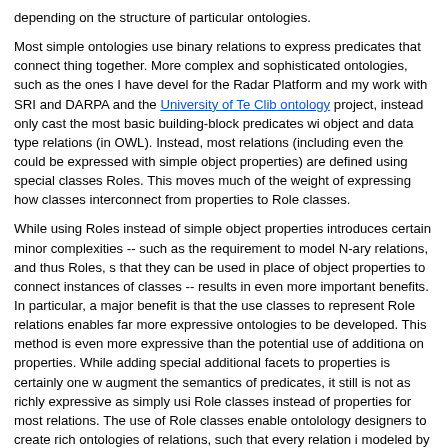depending on the structure of particular ontologies.
Most simple ontologies use binary relations to express predicates that connect things together. More complex and sophisticated ontologies, such as the ones I have developed for the Radar Platform and my work with SRI and DARPA and the University of Texas Clib ontology project, instead only cast the most basic building-block predicates with object and data type relations (in OWL). Instead, most relations (including even those could be expressed with simple object properties) are defined using special classes called Roles. This moves much of the weight of expressing how classes interconnect from properties to Role classes.
While using Roles instead of simple object properties introduces certain minor complexities -- such as the requirement to model N-ary relations, and thus Roles, so that they can be used in place of object properties to connect instances of classes -- results in even more important benefits. In particular, a major benefit is that the use of classes to represent Role relations enables far more expressive ontologies to be developed. This method is even more expressive than the potential use of additional facets on properties. While adding special additional facets to properties is certainly one way to augment the semantics of predicates, it still is not as richly expressive as simply using Role classes instead of properties for most relations. The use of Role classes enables ontolology designers to create rich ontologies of relations, such that every relation modeled by a Role can be formally defined as a concept with respect to other entities and relations in the ontology. In other words, it enables a much richer semantics to be defined for the domain.